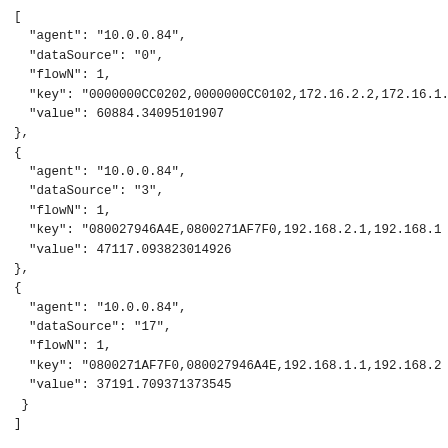[
  "agent": "10.0.0.84",
  "dataSource": "0",
  "flowN": 1,
  "key": "0000000CC0202,0000000CC0102,172.16.2.2,172.16.1.2",
  "value": 60884.34095101907
},
{
  "agent": "10.0.0.84",
  "dataSource": "3",
  "flowN": 1,
  "key": "080027946A4E,0800271AF7F0,192.168.2.1,192.168.1",
  "value": 47117.093823014926
},
{
  "agent": "10.0.0.84",
  "dataSource": "17",
  "flowN": 1,
  "key": "0800271AF7F0,080027946A4E,192.168.1.1,192.168.2",
  "value": 37191.709371373545
 }
]
The previous example showed how the flow information can be associated with Docker containers, logical networks, and physical networks so that control actions can be planned and executed reduce traffic on an overloaded virtual switch.